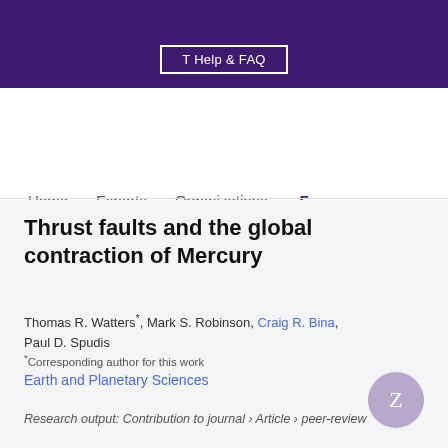T Help & FAQ
Home   Experts   Organizations   F
Search
Thrust faults and the global contraction of Mercury
Thomas R. Watters*, Mark S. Robinson, Craig R. Bina, Paul D. Spudis
*Corresponding author for this work
Earth and Planetary Sciences
Research output: Contribution to journal › Article › peer-review